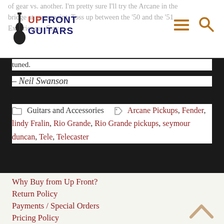Upfront Guitars
of gear vs. another. I'm pretty sure I'll try the Arcane in the bridge at some point. Toss up between the '50 and the '51 Experience. Stay tuned.
– Neil Swanson
Guitars and Accessories  Arcane Pickups, Fender, lindy Fralin, Rio Grande, Rio Grande pickups, seymour duncan, Tele, Telecaster
Why Buy from Up Front?
Return Policy
Payments / Special Orders
Pricing Policy